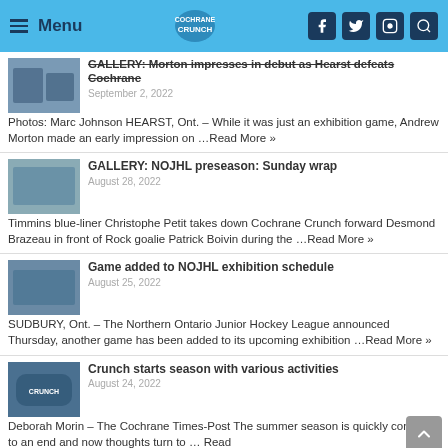Menu | Cochrane Crunch | (social icons)
GALLERY: Morton impresses in debut as Hearst defeats Cochrane
September 2, 2022
Photos: Marc Johnson HEARST, Ont. – While it was just an exhibition game, Andrew Morton made an early impression on …Read More »
GALLERY: NOJHL preseason: Sunday wrap
August 28, 2022
Timmins blue-liner Christophe Petit takes down Cochrane Crunch forward Desmond Brazeau in front of Rock goalie Patrick Boivin during the …Read More »
Game added to NOJHL exhibition schedule
August 25, 2022
SUDBURY, Ont. – The Northern Ontario Junior Hockey League announced Thursday, another game has been added to its upcoming exhibition …Read More »
Crunch starts season with various activities
August 24, 2022
Deborah Morin – The Cochrane Times-Post The summer season is quickly coming to an end and now thoughts turn to … Read